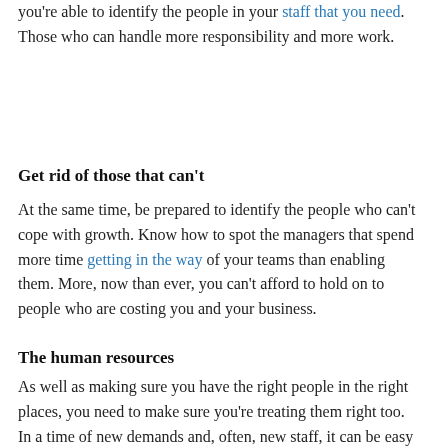you're able to identify the people in your staff that you need. Those who can handle more responsibility and more work.
Get rid of those that can't
At the same time, be prepared to identify the people who can't cope with growth. Know how to spot the managers that spend more time getting in the way of your teams than enabling them. More, now than ever, you can't afford to hold on to people who are costing you and your business.
The human resources
As well as making sure you have the right people in the right places, you need to make sure you're treating them right too. In a time of new demands and, often, new staff, it can be easy to fall behind. You need to stop that from